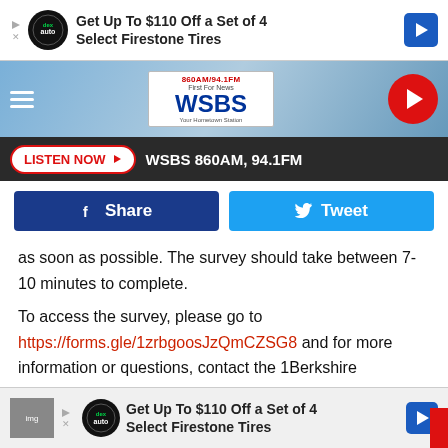[Figure (screenshot): Ad banner: Get Up To $110 Off a Set of 4 Select Firestone Tires with DexAuto logo and blue arrow]
[Figure (logo): WSBS 860AM/94.1FM radio station header with logo and play button]
[Figure (screenshot): LISTEN NOW button and WSBS 860AM, 94.1FM text on dark bar]
[Figure (screenshot): Facebook Share and Twitter Tweet buttons]
as soon as possible. The survey should take between 7-10 minutes to complete.
To access the survey, please go to https://forms.gle/1zrbgoosJzQmCZSG8 and for more information or questions, contact the 1Berkshire Economic Development team at EconomicDev@1berkshire.com.
[Figure (screenshot): Ad banner at bottom: Get Up To $110 Off a Set of 4 Select Firestone Tires]